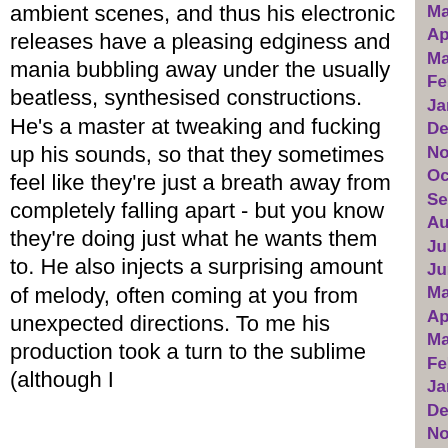ambient scenes, and thus his electronic releases have a pleasing edginess and mania bubbling away under the usually beatless, synthesised constructions. He's a master at tweaking and fucking up his sounds, so that they sometimes feel like they're just a breath away from completely falling apart - but you know they're doing just what he wants them to. He also injects a surprising amount of melody, often coming at you from unexpected directions. To me his production took a turn to the sublime (although I
May 2018
April 2018
March 2018
February 2018
January 2018
December 2017
November 2017
October 2017
September 2017
August 2017
July 2017
June 2017
May 2017
April 2017
March 2017
February 2017
January 2017
December 2016
November 2016
October 2016
September 2016
August 2016
July 2016
June 2016
May 2016
April 2016
March 2016
February 2016
January 2016